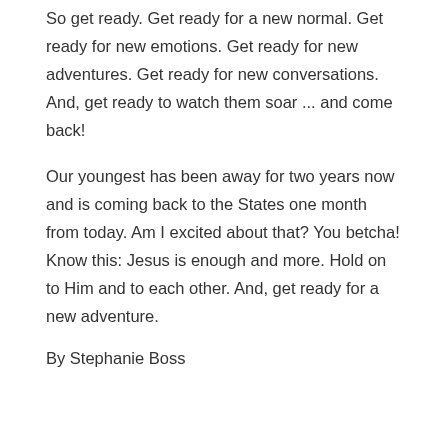So get ready. Get ready for a new normal. Get ready for new emotions. Get ready for new adventures. Get ready for new conversations. And, get ready to watch them soar ... and come back!
Our youngest has been away for two years now and is coming back to the States one month from today. Am I excited about that? You betcha! Know this: Jesus is enough and more. Hold on to Him and to each other. And, get ready for a new adventure.
By Stephanie Boss